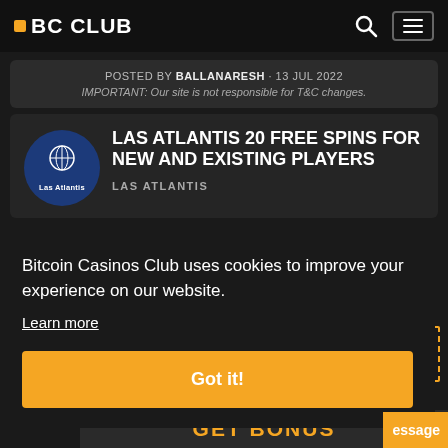BC CLUB
POSTED BY BALLANARESH · 13 JUL 2022
IMPORTANT: Our site is not responsible for T&C changes.
LAS ATLANTIS 20 FREE SPINS FOR NEW AND EXISTING PLAYERS
LAS ATLANTIS
Bitcoin Casinos Club uses cookies to improve your experience on our website.
Learn more
Got it!
GET BONUS
essage